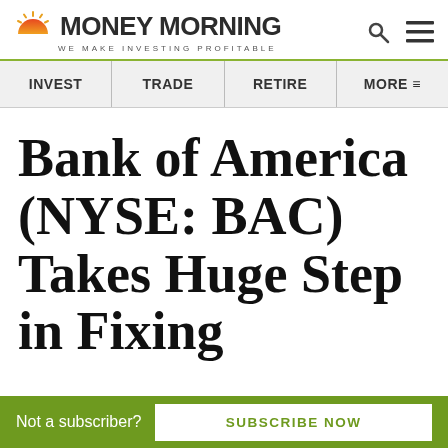MONEY MORNING — WE MAKE INVESTING PROFITABLE
INVEST | TRADE | RETIRE | MORE
Bank of America (NYSE: BAC) Takes Huge Step in Fixing
Not a subscriber? SUBSCRIBE NOW